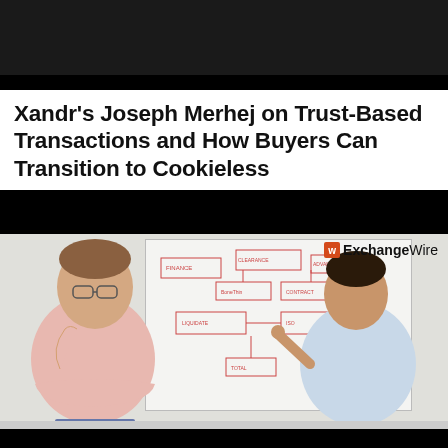[Figure (screenshot): Top portion of a webpage or video player showing a dark/black banner area at the top]
Xandr's Joseph Merhej on Trust-Based Transactions and How Buyers Can Transition to Cookieless
[Figure (screenshot): Video screenshot showing two men — one in a pink shirt on the left with arms folded, one in a light blue shirt on the right pointing at a whiteboard with diagrams. ExchangeWire logo visible in top right corner. Video player has black bars at top and bottom.]